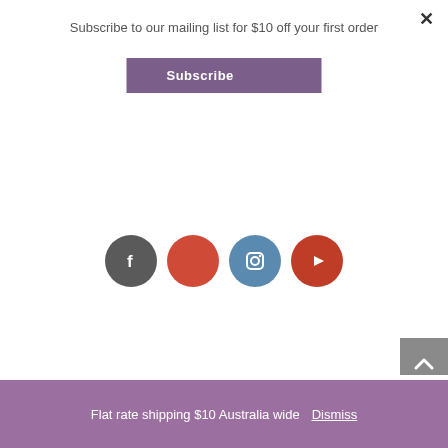Subscribe to our mailing list for $10 off your first order
Subscribe
×
[Figure (infographic): Four social media icon circles: Facebook (dark grey), Pinterest (red-orange), Instagram (steel blue), YouTube (dark red)]
MORE INFORMATION
Flat rate shipping $10 Australia wide   Dismiss